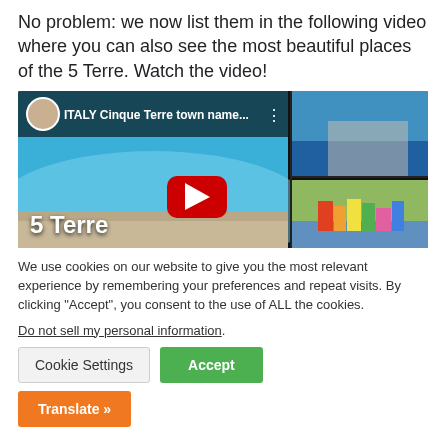No problem: we now list them in the following video where you can also see the most beautiful places of the 5 Terre. Watch the video!
[Figure (screenshot): YouTube video thumbnail showing 'ITALY Cinque Terre town name...' with a beach scene, play button, and two coastal town images on the right]
We use cookies on our website to give you the most relevant experience by remembering your preferences and repeat visits. By clicking “Accept”, you consent to the use of ALL the cookies.
Do not sell my personal information.
Cookie Settings   Accept
Translate »